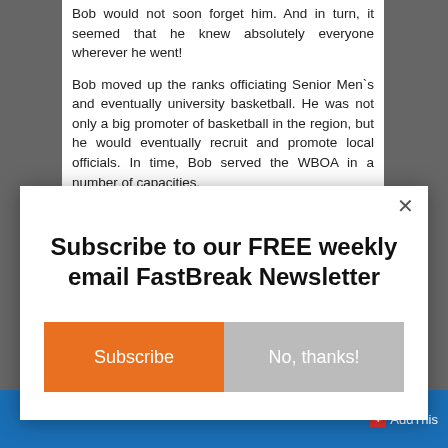Bob would not soon forget him. And in turn, it seemed that he knew absolutely everyone wherever he went!
Bob moved up the ranks officiating Senior Men`s and eventually university basketball. He was not only a big promoter of basketball in the region, but he would eventually recruit and promote local officials. In time, Bob served the WBOA in a number of capacities.
Subscribe to our FREE weekly email FastBreak Newsletter
Subscribe
No, thanks!
AddThis